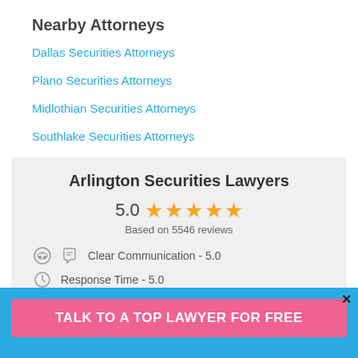Nearby Attorneys
Dallas Securities Attorneys
Plano Securities Attorneys
Midlothian Securities Attorneys
Southlake Securities Attorneys
Arlington Securities Lawyers
5.0 ★★★★★ Based on 5546 reviews
Clear Communication - 5.0
Response Time - 5.0
Knowledgeable - 5.0
TALK TO A TOP LAWYER FOR FREE